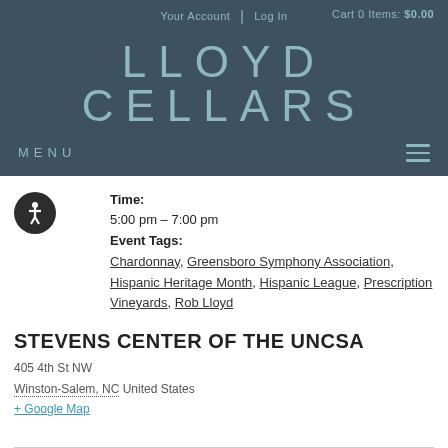Your Account | Log In | Cart 0 Items: $0.00
[Figure (logo): LLOYD CELLARS logo in teal/light blue letters on dark slate background]
MENU
Time:
5:00 pm - 7:00 pm
Event Tags:
Chardonnay, Greensboro Symphony Association, Hispanic Heritage Month, Hispanic League, Prescription Vineyards, Rob Lloyd
STEVENS CENTER OF THE UNCSA
405 4th St NW
Winston-Salem, NC United States
+ Google Map
HISPANIC ART